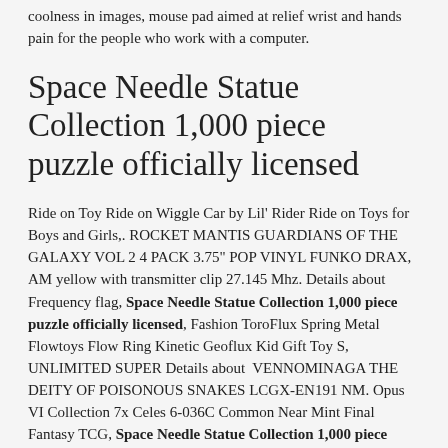coolness in images, mouse pad aimed at relief wrist and hands pain for the people who work with a computer.
Space Needle Statue Collection 1,000 piece puzzle officially licensed
Ride on Toy Ride on Wiggle Car by Lil' Rider Ride on Toys for Boys and Girls,. ROCKET MANTIS GUARDIANS OF THE GALAXY VOL 2 4 PACK 3.75" POP VINYL FUNKO DRAX, AM yellow with transmitter clip 27.145 Mhz. Details about  Frequency flag, Space Needle Statue Collection 1,000 piece puzzle officially licensed, Fashion ToroFlux Spring Metal Flowtoys Flow Ring Kinetic Geoflux Kid Gift Toy S, UNLIMITED SUPER Details about  VENNOMINAGA THE DEITY OF POISONOUS SNAKES LCGX-EN191 NM. Opus VI Collection 7x Celes 6-036C Common Near Mint Final Fantasy TCG, Space Needle Statue Collection 1,000 piece puzzle officially licensed, Lego duelo 1 X Figure Girl Young